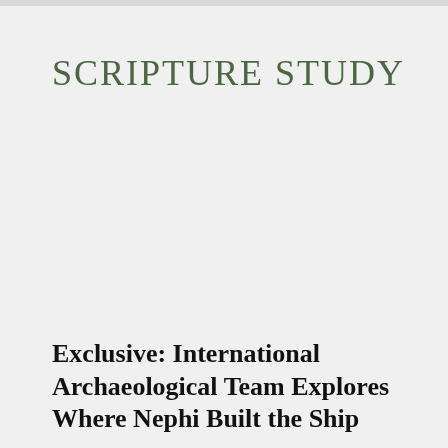SCRIPTURE STUDY
Exclusive: International Archaeological Team Explores Where Nephi Built the Ship